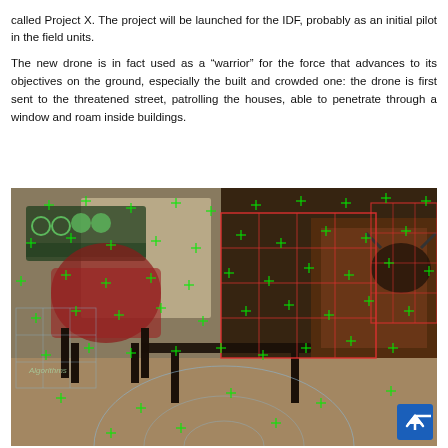called Project X. The project will be launched for the IDF, probably as an initial pilot in the field units.
The new drone is in fact used as a “warrior” for the force that advances to its objectives on the ground, especially the built and crowded one: the drone is first sent to the threatened street, patrolling the houses, able to penetrate through a window and roam inside buildings.
[Figure (photo): Indoor room scene showing furniture (chairs, tables) overlaid with green feature-detection markers (crosses) and red grid/bounding-box overlays, likely from a drone or computer-vision algorithm processing the environment. Text 'Algorithms' visible in lower left. A blue scroll-to-top button appears in the bottom right corner.]